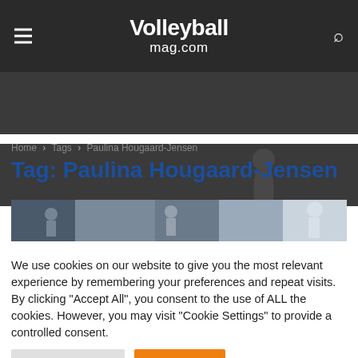Volleyballmag.com
[Figure (screenshot): Dark banner with faint volleyball player silhouette graphic]
Home › Tags › Paulina Hougaard-Jensen
Tag: Paulina Hougaard-Jensen
[Figure (photo): Volleyball match photo strip showing players in action]
We use cookies on our website to give you the most relevant experience by remembering your preferences and repeat visits. By clicking "Accept All", you consent to the use of ALL the cookies. However, you may visit "Cookie Settings" to provide a controlled consent.
Cookie Settings   Accept All